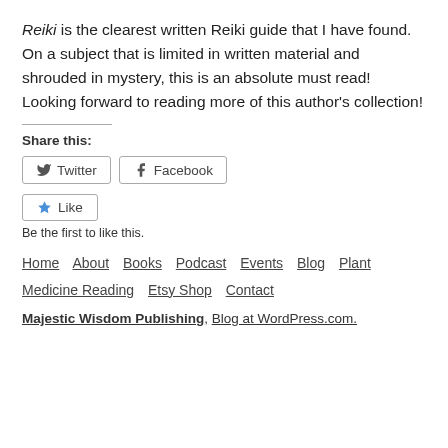Reiki is the clearest written Reiki guide that I have found. On a subject that is limited in written material and shrouded in mystery, this is an absolute must read! Looking forward to reading more of this author's collection!
Share this:
Twitter Facebook
Like Be the first to like this.
Home About Books Podcast Events Blog Plant Medicine Reading Etsy Shop Contact
Majestic Wisdom Publishing. Blog at WordPress.com.